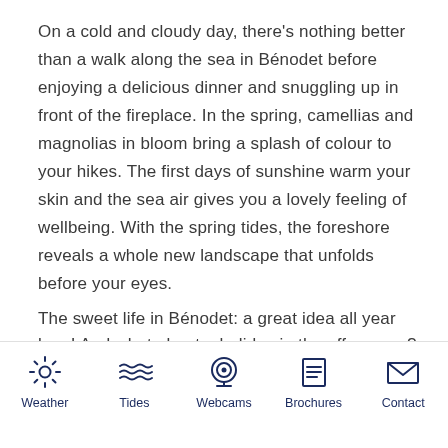On a cold and cloudy day, there's nothing better than a walk along the sea in Bénodet before enjoying a delicious dinner and snuggling up in front of the fireplace. In the spring, camellias and magnolias in bloom bring a splash of colour to your hikes. The first days of sunshine warm your skin and the sea air gives you a lovely feeling of wellbeing. With the spring tides, the foreshore reveals a whole new landscape that unfolds before your eyes.
The sweet life in Bénodet: a great idea all year long! And what about a holiday in the off season?
[Figure (infographic): Navigation bar with 5 icons and labels: Weather (sun icon), Tides (waves icon), Webcams (camera/target icon), Brochures (document icon), Contact (envelope icon)]